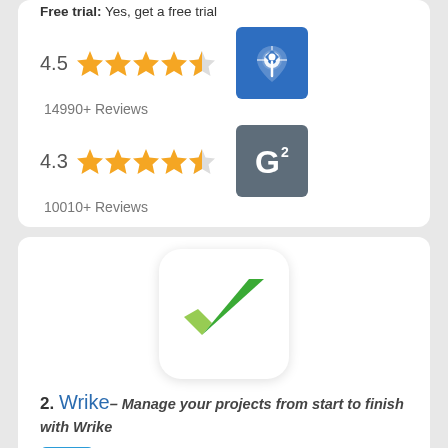Free trial: Yes, get a free trial
4.5 ★★★★½  14990+ Reviews (Capterra)
4.3 ★★★★½  10010+ Reviews (G2)
[Figure (logo): Wrike app logo: white rounded square with green checkmark]
2. Wrike– Manage your projects from start to finish with Wrike
[Figure (illustration): Trophy icon in blue-bordered box]
Our Score 98/100
About Wrike : Wrike is a fast growing online